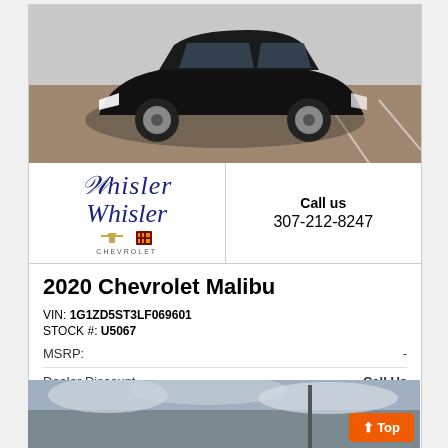[Figure (photo): Black 2020 Chevrolet Malibu sedan parked in a lot, photographed from front-left angle]
[Figure (logo): Whisler Chevrolet Cadillac dealer logo with script text and brand icons]
Call us
307-212-8247
2020 Chevrolet Malibu
VIN: 1G1ZD5ST3LF069601
STOCK #: U5067
MSRP:    -
Dealer Discount    Call Us
CLICK HERE
$24,079
[Figure (photo): Partial view of another vehicle listing below, cloudy sky background]